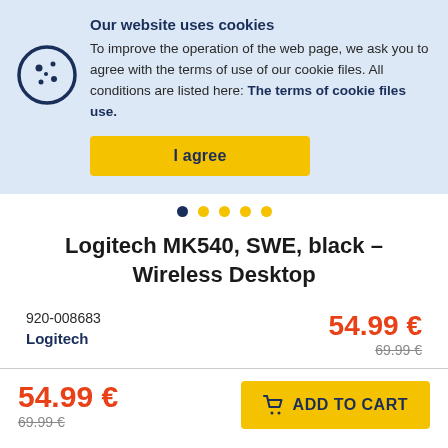Our website uses cookies
To improve the operation of the web page, we ask you to agree with the terms of use of our cookie files. All conditions are listed here: The terms of cookie files use.
I agree
Logitech MK540, SWE, black – Wireless Desktop
920-008683
Logitech
54.99 €
69.99 €
54.99 €
69.99 €
ADD TO CART